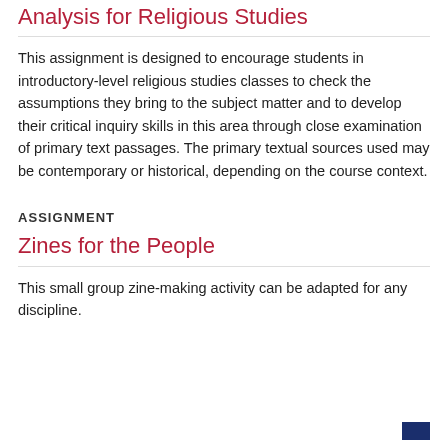Analysis for Religious Studies
This assignment is designed to encourage students in introductory-level religious studies classes to check the assumptions they bring to the subject matter and to develop their critical inquiry skills in this area through close examination of primary text passages. The primary textual sources used may be contemporary or historical, depending on the course context.
ASSIGNMENT
Zines for the People
This small group zine-making activity can be adapted for any discipline.